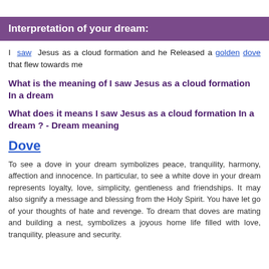Interpretation of your dream:
I saw Jesus as a cloud formation and he Released a golden dove that flew towards me
What is the meaning of I saw Jesus as a cloud formation In a dream
What does it means I saw Jesus as a cloud formation In a dream ? - Dream meaning
Dove
To see a dove in your dream symbolizes peace, tranquility, harmony, affection and innocence. In particular, to see a white dove in your dream represents loyalty, love, simplicity, gentleness and friendships. It may also signify a message and blessing from the Holy Spirit. You have let go of your thoughts of hate and revenge. To dream that doves are mating and building a nest, symbolizes a joyous home life filled with love, tranquility, pleasure and security.